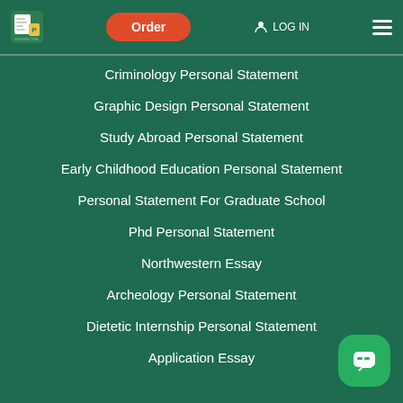[Figure (logo): Personal Statement Writer logo in header]
Criminology Personal Statement
Graphic Design Personal Statement
Study Abroad Personal Statement
Early Childhood Education Personal Statement
Personal Statement For Graduate School
Phd Personal Statement
Northwestern Essay
Archeology Personal Statement
Dietetic Internship Personal Statement
Application Essay